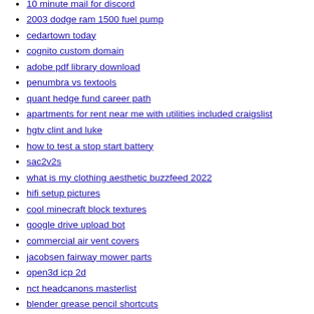10 minute mail for discord
2003 dodge ram 1500 fuel pump
cedartown today
cognito custom domain
adobe pdf library download
penumbra vs textools
quant hedge fund career path
apartments for rent near me with utilities included craigslist
hgtv clint and luke
how to test a stop start battery
sac2v2s
what is my clothing aesthetic buzzfeed 2022
hifi setup pictures
cool minecraft block textures
google drive upload bot
commercial air vent covers
jacobsen fairway mower parts
open3d icp 2d
nct headcanons masterlist
blender grease pencil shortcuts
discount tires vancouver
domains of delight pdf free download
ipq4029 openwrt
concrete retaining wall blocks
steinel ammo coupon
the type or namespace name guid could not be found